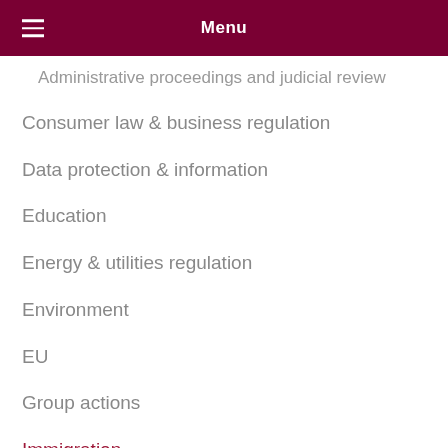Menu
Administrative proceedings and judicial review
Consumer law & business regulation
Data protection & information
Education
Energy & utilities regulation
Environment
EU
Group actions
Immigration
International arbitration